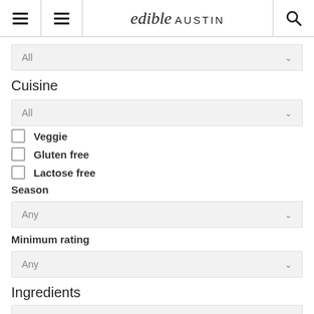edible AUSTIN
All (dropdown)
Cuisine
All (dropdown)
Veggie
Gluten free
Lactose free
Season
Any (dropdown)
Minimum rating
Any (dropdown)
Ingredients
(input field)